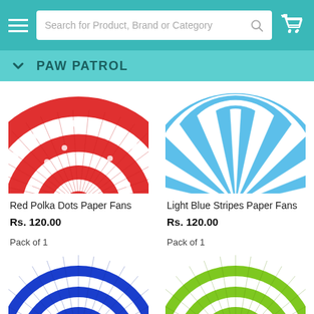Search for Product, Brand or Category
PAW PATROL
[Figure (photo): Red polka dots paper fan rosette, partially cropped at top]
[Figure (photo): Light blue and white stripes paper fan rosette, partially cropped at top]
Red Polka Dots Paper Fans
Rs. 120.00
Pack of 1
Light Blue Stripes Paper Fans
Rs. 120.00
Pack of 1
[Figure (photo): Dark blue and white stripes paper fan rosette, partially visible at bottom]
[Figure (photo): Green and white stripes paper fan rosette, partially visible at bottom]